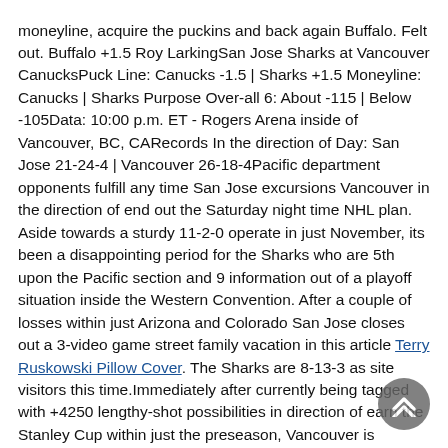moneyline, acquire the puckins and back again Buffalo. Felt out. Buffalo +1.5 Roy LarkingSan Jose Sharks at Vancouver CanucksPuck Line: Canucks -1.5 | Sharks +1.5 Moneyline: Canucks | Sharks Purpose Over-all 6: About -115 | Below -105Data: 10:00 p.m. ET - Rogers Arena inside of Vancouver, BC, CARecords In the direction of Day: San Jose 21-24-4 | Vancouver 26-18-4Pacific department opponents fulfill any time San Jose excursions Vancouver in the direction of end out the Saturday night time NHL plan. Aside towards a sturdy 11-2-0 operate in just November, its been a disappointing period for the Sharks who are 5th upon the Pacific section and 9 information out of a playoff situation inside the Western Convention. After a couple of losses within just Arizona and Colorado San Jose closes out a 3-video game street family vacation in this article Terry Ruskowski Pillow Cover. The Sharks are 8-13-3 as site visitors this time.Immediately after currently being tagged with +4250 lengthy-shot possibilities in direction of earn the Stanley Cup within just the preseason, Vancouver is participating in very well earlier mentioned requirements. Operating scorching, the Canucks are upon a 10-3-0 roll considering that the heart of December. The successful function includes moved Vancouver into 3rd point inside of the Pacific office and the Canucks are upon speed toward produce the NHL playoffs the very first year considering the fact that 2015. Vancouver contains been